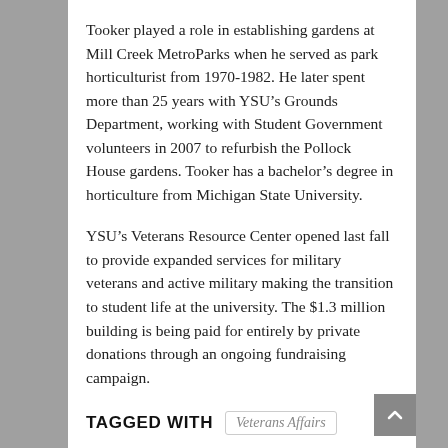Tooker played a role in establishing gardens at Mill Creek MetroParks when he served as park horticulturist from 1970-1982. He later spent more than 25 years with YSU's Grounds Department, working with Student Government volunteers in 2007 to refurbish the Pollock House gardens. Tooker has a bachelor's degree in horticulture from Michigan State University.
YSU's Veterans Resource Center opened last fall to provide expanded services for military veterans and active military making the transition to student life at the university. The $1.3 million building is being paid for entirely by private donations through an ongoing fundraising campaign.
TAGGED WITH
Veterans Affairs